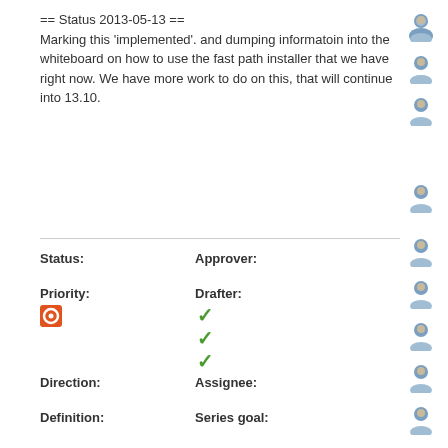== Status 2013-05-13 ==
Marking this 'implemented'. and dumping informatoin into the whiteboard on how to use the fast path installer that we have right now. We have more work to do on this, that will continue into 13.10.
Status:
Approver:
Priority:
Drafter:
Direction:
Assignee:
Definition:
Series goal: